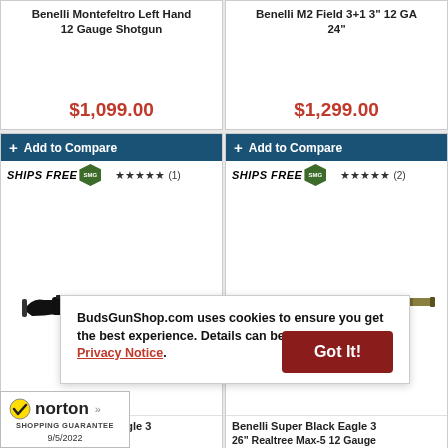Benelli Montefeltro Left Hand 12 Gauge Shotgun
$1,099.00
Benelli M2 Field 3+1 3" 12 GA 24"
$1,299.00
+ Add to Compare
SHIPS FREE SMG ★★★★★ (1)
+ Add to Compare
SHIPS FREE SMG ★★★★★ (2)
[Figure (photo): Benelli Super Black Eagle 3 shotgun, black finish, side view]
Benelli Super Black Eagle 3 2...
[Figure (photo): Benelli Super Black Eagle 3 26" Realtree Max-5 12 Gauge shotgun, camo finish, side view]
Benelli Super Black Eagle 3 26" Realtree Max-5 12 Gauge
BudsGunShop.com uses cookies to ensure you get the best experience. Details can be found in our Privacy Notice.
Got It!
[Figure (logo): Norton Shopping Guarantee badge with checkmark, dated 9/5/2022]